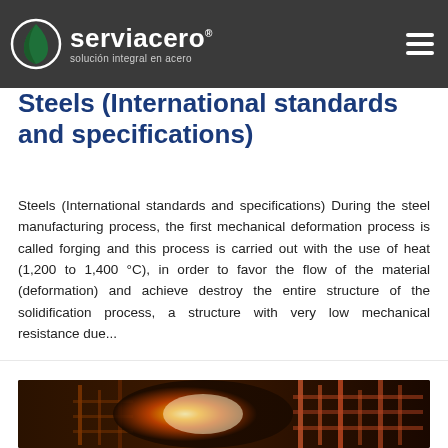serviacero — solución integral en acero
Steels (International standards and specifications)
Steels (International standards and specifications) During the steel manufacturing process, the first mechanical deformation process is called forging and this process is carried out with the use of heat (1,200 to 1,400 °C), in order to favor the flow of the material (deformation) and achieve destroy the entire structure of the solidification process, a structure with very low mechanical resistance due...
View more →
[Figure (photo): Industrial steel manufacturing scene with glowing hot metal and machinery in orange/red tones]